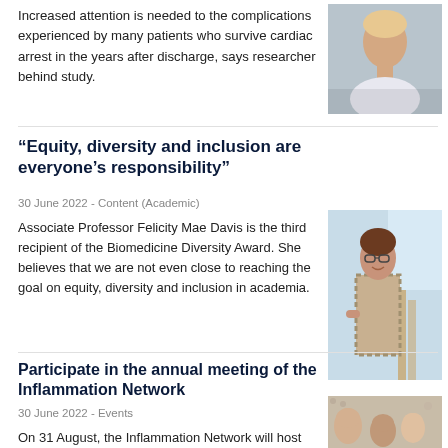Increased attention is needed to the complications experienced by many patients who survive cardiac arrest in the years after discharge, says researcher behind study.
[Figure (photo): Portrait photo of a male researcher]
“Equity, diversity and inclusion are everyone’s responsibility”
30 June 2022 - Content (Academic)
Associate Professor Felicity Mae Davis is the third recipient of the Biomedicine Diversity Award. She believes that we are not even close to reaching the goal on equity, diversity and inclusion in academia.
[Figure (photo): Photo of Associate Professor Felicity Mae Davis, a woman with glasses smiling on a staircase]
Participate in the annual meeting of the Inflammation Network
30 June 2022 - Events
[Figure (photo): Photo of audience at a meeting event]